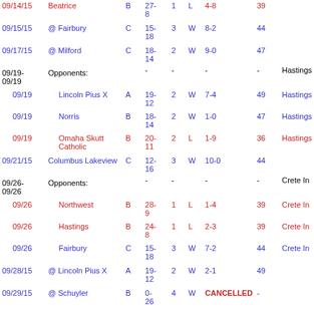| Date | Opponent | Class | Score | Sets | W/L | Record | Att | Location |
| --- | --- | --- | --- | --- | --- | --- | --- | --- |
| 09/14/15 | Beatrice | B | 27-8 | 1 | L | 4-8 | 39 |  |
| 09/15/15 | @ Fairbury | C | 15-18 | 3 | W | 8-2 | 44 |  |
| 09/17/15 | @ Milford | C | 18-14 | 2 | W | 9-0 | 47 |  |
| 09/19-09/19 | Opponents: |  | - | - |  | - | - | Hastings |
| 09/19 | Lincoln Pius X | A | 19-12 | 2 | W | 7-4 | 49 | Hastings |
| 09/19 | Norris | B | 18-14 | 2 | W | 1-0 | 47 | Hastings |
| 09/19 | Omaha Skutt Catholic | B | 20-11 | 2 | L | 1-9 | 36 | Hastings |
| 09/21/15 | Columbus Lakeview | C | 12-16 | 3 | W | 10-0 | 44 |  |
| 09/26-09/26 | Opponents: |  | - | - |  | - | - | Crete In |
| 09/26 | Northwest | B | 28-9 | 1 | L | 1-4 | 39 | Crete In |
| 09/26 | Hastings | B | 24-8 | 1 | L | 2-3 | 39 | Crete In |
| 09/26 | Fairbury | C | 15-18 | 3 | W | 7-2 | 44 | Crete In |
| 09/28/15 | @ Lincoln Pius X | A | 19-12 | 2 | W | 2-1 | 49 |  |
| 09/29/15 | @ Schuyler | B | 0-26 | 4 | W | CANCELLED | - |  |